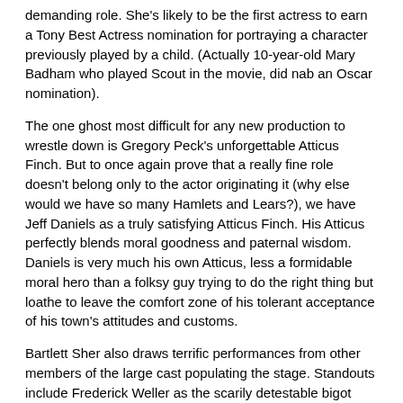demanding role. She's likely to be the first actress to earn a Tony Best Actress nomination for portraying a character previously played by a child. (Actually 10-year-old Mary Badham who played Scout in the movie, did nab an Oscar nomination).
The one ghost most difficult for any new production to wrestle down is Gregory Peck's unforgettable Atticus Finch. But to once again prove that a really fine role doesn't belong only to the actor originating it (why else would we have so many Hamlets and Lears?), we have Jeff Daniels as a truly satisfying Atticus Finch. His Atticus perfectly blends moral goodness and paternal wisdom. Daniels is very much his own Atticus, less a formidable moral hero than a folksy guy trying to do the right thing but loathe to leave the comfort zone of his tolerant acceptance of his town's attitudes and customs.
Bartlett Sher also draws terrific performances from other members of the large cast populating the stage. Standouts include Frederick Weller as the scarily detestable bigot Bob Ewell, Erin Wilhelm as his abused daughter Mayella, Dakin Watkins as a delightfully humorous Judge Thomas, Danny Wolahan as Boo Radley. Also well defined and portrayed are minor characters like Ewell's more upscale moral counterpart, Mrs.Dubose (Phyllis Sommerville), and Link Deas (Heil Huff). While Atticus and the children are the play's heart and soul, the entire ensemble enhances this rich new evocation of the novel.